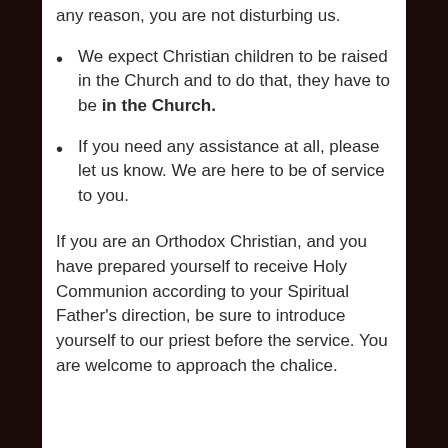any reason, you are not disturbing us.
We expect Christian children to be raised in the Church and to do that, they have to be in the Church.
If you need any assistance at all, please let us know. We are here to be of service to you.
If you are an Orthodox Christian, and you have prepared yourself to receive Holy Communion according to your Spiritual Father's direction, be sure to introduce yourself to our priest before the service. You are welcome to approach the chalice.